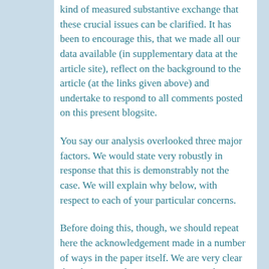kind of measured substantive exchange that these crucial issues can be clarified. It has been to encourage this, that we made all our data available (in supplementary data at the article site), reflect on the background to the article (at the links given above) and undertake to respond to all comments posted on this present blogsite.
You say our analysis overlooked three major factors. We would state very robustly in response that this is demonstrably not the case. We will explain why below, with respect to each of your particular concerns.
Before doing this, though, we should repeat here the acknowledgement made in a number of ways in the paper itself. We are very clear that this is simply one pioneering study on a crucial but neglected empirical issue, examining patterns of association rather than causation. Altho' the results stand as given, we acknowledge many ways in which the analysis can